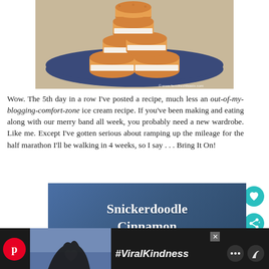[Figure (photo): Stack of snickerdoodle sandwich cookies with white cream filling piled on a blue plate, with watermark © www.farmfreshfeasts.com]
Wow. The 5th day in a row I've posted a recipe, much less an out-of-my-blogging-comfort-zone ice cream recipe. If you've been making and eating along with our merry band all week, you probably need a new wardrobe. Like me. Except I've gotten serious about ramping up the mileage for the half marathon I'll be walking in 4 weeks, so I say . . . Bring It On!
[Figure (other): Recipe card with dark blue gradient background showing text 'Snickerdoodle Cinnamon']
[Figure (other): Advertisement bar at bottom showing hands forming heart shape, #ViralKindness hashtag, Pinterest icon, and social media app icons]